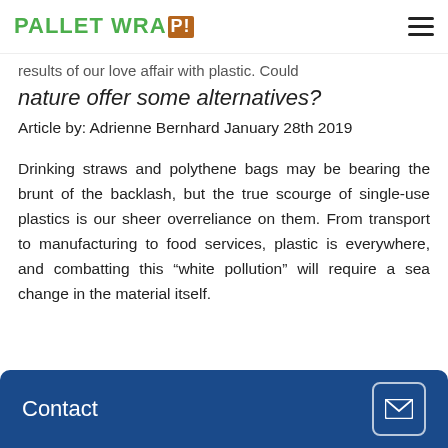PALLET WRAP!
results of our love affair with plastic. Could nature offer some alternatives?
nature offer some alternatives?
Article by: Adrienne Bernhard January 28th 2019
Drinking straws and polythene bags may be bearing the brunt of the backlash, but the true scourge of single-use plastics is our sheer overreliance on them. From transport to manufacturing to food services, plastic is everywhere, and combatting this “white pollution” will require a sea change in the material itself.
Contact